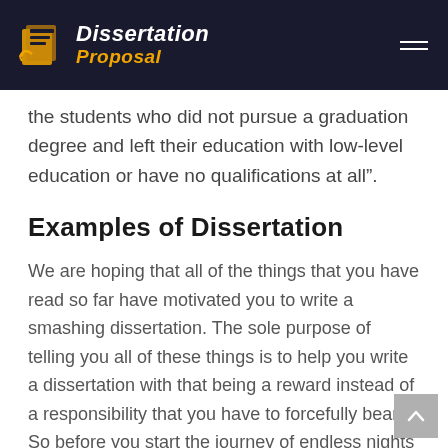Dissertation Proposal
the students who did not pursue a graduation degree and left their education with low-level education or have no qualifications at all”.
Examples of Dissertation
We are hoping that all of the things that you have read so far have motivated you to write a smashing dissertation. The sole purpose of telling you all of these things is to help you write a dissertation with that being a reward instead of a responsibility that you have to forcefully bear. So before you start the journey of endless nights and fun-filled research